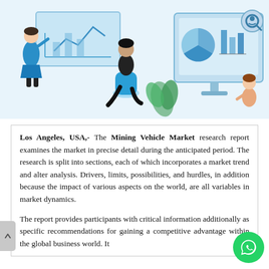[Figure (illustration): Business illustration showing two people in a meeting with presentation board on the left, and a person working at a large desktop computer monitor displaying charts and data on the right. Light blue tones.]
Los Angeles, USA,- The Mining Vehicle Market research report examines the market in precise detail during the anticipated period. The research is split into sections, each of which incorporates a market trend and alter analysis. Drivers, limits, possibilities, and hurdles, in addition because the impact of various aspects on the world, are all variables in market dynamics.
The report provides participants with critical information additionally as specific recommendations for gaining a competitive advantage within the global business world. It